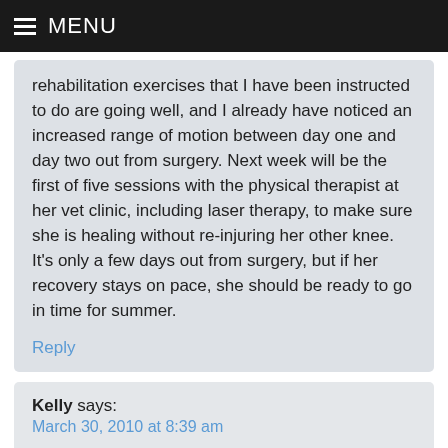MENU
rehabilitation exercises that I have been instructed to do are going well, and I already have noticed an increased range of motion between day one and day two out from surgery. Next week will be the first of five sessions with the physical therapist at her vet clinic, including laser therapy, to make sure she is healing without re-injuring her other knee. It's only a few days out from surgery, but if her recovery stays on pace, she should be ready to go in time for summer.
Reply
Kelly says:
March 30, 2010 at 8:39 am
My 6 year old German Shepherd Angel had the tightrope surgery this past fall. Dr. Cook did the surgery here in Illinois. I will tell anyone that is